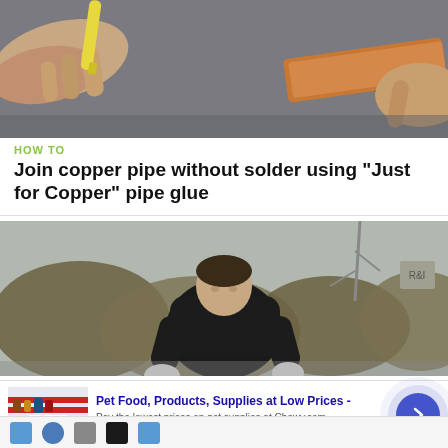[Figure (photo): Close-up photo of hands holding a copper pipe with yellow adhesive/glue being applied to the end of the pipe]
HOW TO
Join copper pipe without solder using "Just for Copper" pipe glue
[Figure (photo): Man in black jacket working outdoors, bending over in a garden or yard with bare shrubs in the background]
[Figure (infographic): Advertisement for Chewy.com: Pet Food, Products, Supplies at Low Prices - Pay the lowest prices on pet supplies at Chewy.com]